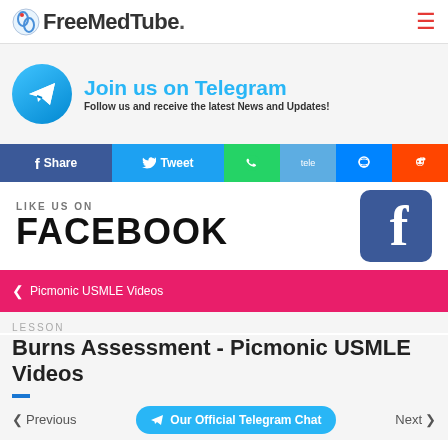FreeMedTube.
[Figure (infographic): Telegram join us banner with Telegram circle icon, bold cyan 'Join us on Telegram' title and subtitle 'Follow us and receive the latest News and Updates!']
[Figure (infographic): Social share buttons row: Facebook Share, Twitter Tweet, WhatsApp, Telegram, Messenger, Reddit]
[Figure (infographic): Facebook like us section with 'LIKE US ON' text, large FACEBOOK text, and Facebook logo box]
< Picmonic USMLE Videos
LESSON
Burns Assessment - Picmonic USMLE Videos
< Previous   Our Official Telegram Chat   Next >